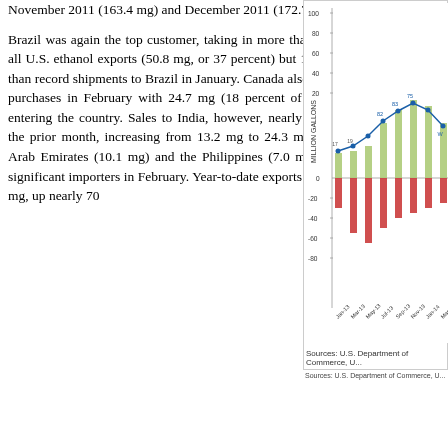November 2011 (163.4 mg) and December 2011 (172.7 mg).

Brazil was again the top customer, taking in more than one-third of all U.S. ethanol exports (50.8 mg, or 37 percent) but 14 percent less than record shipments to Brazil in January. Canada also decreased its purchases in February with 24.7 mg (18 percent of total exports) entering the country. Sales to India, however, nearly doubled from the prior month, increasing from 13.2 mg to 24.3 mg. The United Arab Emirates (10.1 mg) and the Philippines (7.0 mg) were other significant importers in February. Year-to-date exports stood at 259.8 mg, up nearly 70
[Figure (line-chart): Line and bar chart showing million gallons over time from Jan-13 to approximately Mar-14, with green bars, blue line, and red bars below axis. Y-axis labeled MILLION GALLONS ranging from -80 to 100.]
Sources: U.S. Department of Commerce, U...
ADVERTISEMENT
[Figure (photo): Advertisement for Check-All Valve: black background with text 'More than a Check Valve It's a Check-All' in cyan and gold, below which are photos of two metallic check valves against a twilight industrial background.]